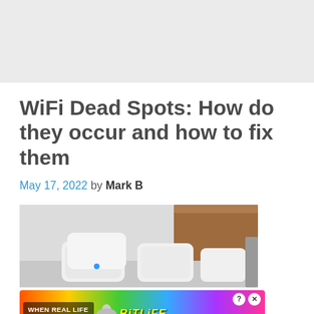[Figure (other): Gray advertisement banner placeholder at top of page]
WiFi Dead Spots: How do they occur and how to fix them
May 17, 2022 by Mark B
[Figure (photo): Photo of multiple WiFi mesh router devices stacked/arranged on a surface with wooden cabinet in background]
[Figure (other): BitLife advertisement banner at bottom: 'WHEN REAL LIFE IS QUARANTINED' with BitLife logo and cartoon emoji character]